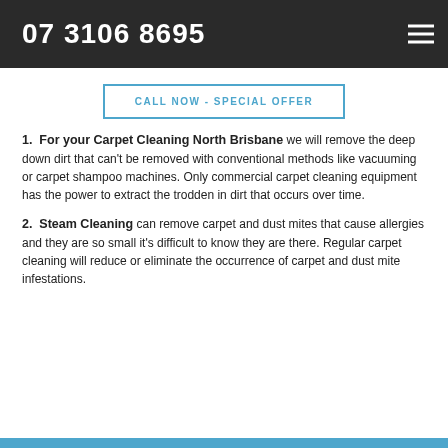07 3106 8695
CALL NOW - SPECIAL OFFER
1. For your Carpet Cleaning North Brisbane we will remove the deep down dirt that can't be removed with conventional methods like vacuuming or carpet shampoo machines. Only commercial carpet cleaning equipment has the power to extract the trodden in dirt that occurs over time.
2. Steam Cleaning can remove carpet and dust mites that cause allergies and they are so small it's difficult to know they are there. Regular carpet cleaning will reduce or eliminate the occurrence of carpet and dust mite infestations.